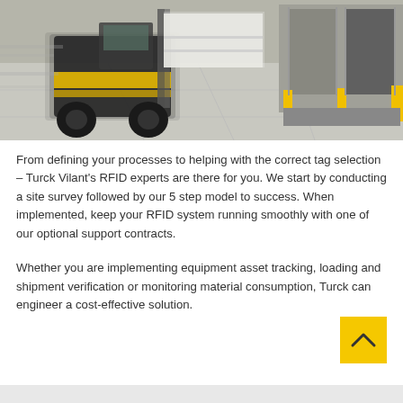[Figure (photo): A forklift in motion inside a warehouse, carrying white packages, with loading dock doors in the background. Yellow safety barriers visible. Motion blur effect on forklift.]
From defining your processes to helping with the correct tag selection – Turck Vilant's RFID experts are there for you. We start by conducting a site survey followed by our 5 step model to success. When implemented, keep your RFID system running smoothly with one of our optional support contracts.
Whether you are implementing equipment asset tracking, loading and shipment verification or monitoring material consumption, Turck can engineer a cost-effective solution.